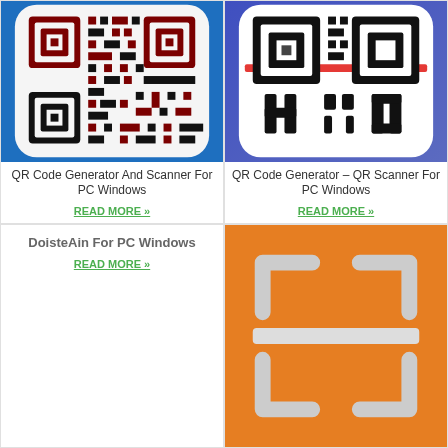[Figure (screenshot): QR Code Generator And Scanner app icon - dark red/black QR code on white rounded rectangle with blue background]
QR Code Generator And Scanner For PC Windows
READ MORE »
[Figure (screenshot): QR Code Generator - QR Scanner app icon - black QR code on white with red scanner line and blue rounded rectangle background]
QR Code Generator – QR Scanner For PC Windows
READ MORE »
DoisteAin For PC Windows
READ MORE »
[Figure (screenshot): Orange QR/barcode scanner app icon with white corner bracket frames and horizontal scan line on orange background]